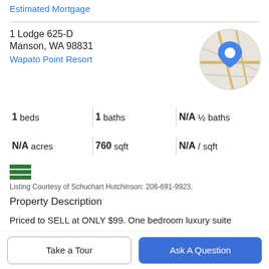Estimated Mortgage
1 Lodge 625-D
Manson, WA 98831
Wapato Point Resort
[Figure (map): Circular map thumbnail showing a location pin on a street map of Manson, WA area]
1 beds | 1 baths | N/A ½ baths | N/A acres | 760 sqft | N/A / sqft
[Figure (logo): MLS logo — stylized triple-bar green icon]
Listing Courtesy of Schuchart Hutchinson: 206-691-9923.
Property Description
Priced to SELL at ONLY $99. One bedroom luxury suite recently remodeled from floor to ceiling with high end
Take a Tour   Ask A Question